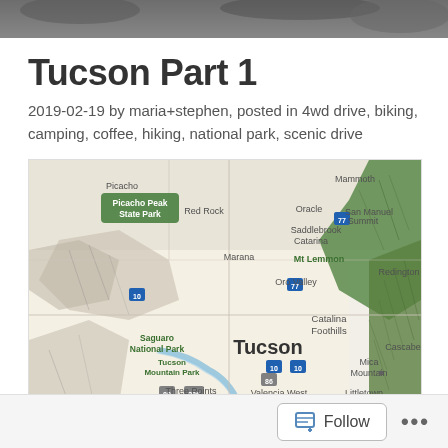[Figure (photo): Dark landscape/nature photo at top of page]
Tucson Part 1
2019-02-19 by maria+stephen, posted in 4wd drive, biking, camping, coffee, hiking, national park, scenic drive
[Figure (map): Google Maps style map showing Tucson, Arizona area with locations including Picacho Peak State Park, Saguaro National Park, Tucson Mountain Park, Catalina Foothills, Mt Lemmon, Redington, Cascabel, Mica Mountain and other landmarks]
Follow  •••